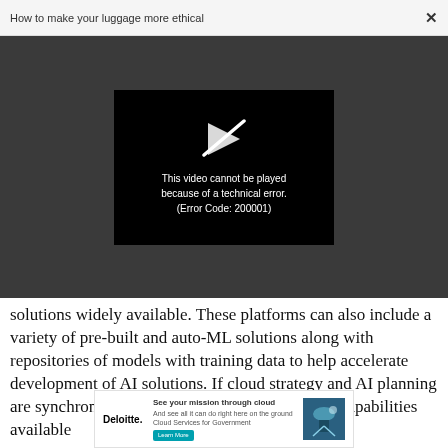How to make your luggage more ethical    ×
[Figure (screenshot): Video player showing error message: 'This video cannot be played because of a technical error. (Error Code: 200001)' on black background, embedded in a dark gray overlay.]
solutions widely available. These platforms can also include a variety of pre-built and auto-ML solutions along with repositories of models with training data to help accelerate development of AI solutions. If cloud strategy and AI planning are synchronized, cloud can help make the right capabilities available
[Figure (infographic): Deloitte advertisement banner: 'See your mission through cloud. And see all it can do right here on the ground. Cloud Services for Government. Learn More.' with Deloitte logo and a cloud/satellite image.]